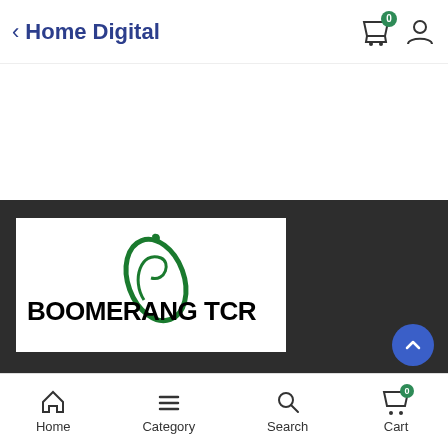Home Digital
[Figure (logo): Boomerang TCR logo with green boomerang graphic and bold black text reading BOOMERANG TCR on white background, shown on a dark grey background section]
Home  Category  Search  Cart